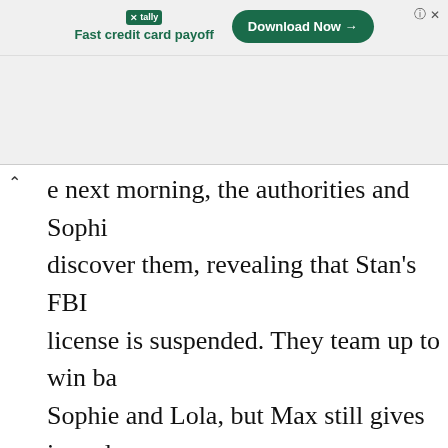[Figure (screenshot): Advertisement banner for Tally app — 'Fast credit card payoff' with a green 'Download Now' button]
e next morning, the authorities and Sophi discover them, revealing that Stan's FBI license is suspended. They team up to win ba Sophie and Lola, but Max still gives in and us the dive trip as a distraction to steal the diamond, which works perfectly when Moore man tries at the same time but is caught afte the fake plan doesn't work. After the fallout, Lola leaves Max after Lloyd shoots Mooré dea